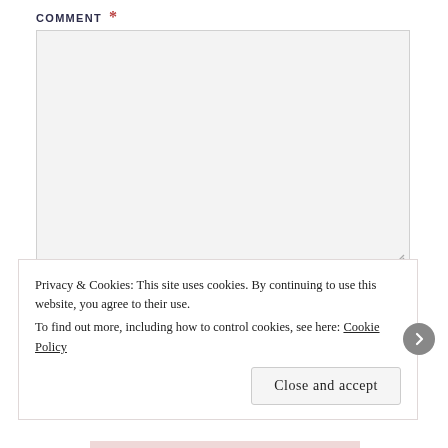COMMENT *
[Figure (other): Large empty textarea input field with light gray background]
NAME *
[Figure (other): Single-line text input field with light gray background]
Privacy & Cookies: This site uses cookies. By continuing to use this website, you agree to their use. To find out more, including how to control cookies, see here: Cookie Policy
Close and accept